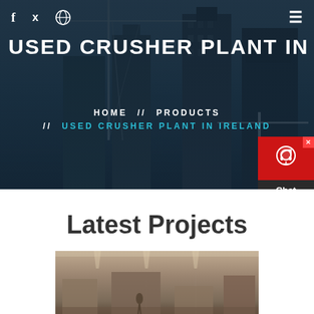[Figure (photo): Hero banner with construction cranes and city buildings in dark blue overlay background]
f  🐦  ⊕    ≡
USED CRUSHER PLANT IN IRELA
HOME  //  PRODUCTS  //  USED CRUSHER PLANT IN IRELAND
[Figure (other): Chat Now widget with red background and support icon]
Latest Projects
[Figure (photo): Industrial/factory interior photo at bottom of page]